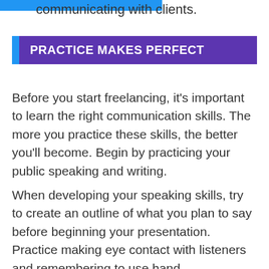communicating with clients.
PRACTICE MAKES PERFECT
Before you start freelancing, it's important to learn the right communication skills. The more you practice these skills, the better you'll become. Begin by practicing your public speaking and writing.
When developing your speaking skills, try to create an outline of what you plan to say before beginning your presentation. Practice making eye contact with listeners and remembering to use hand